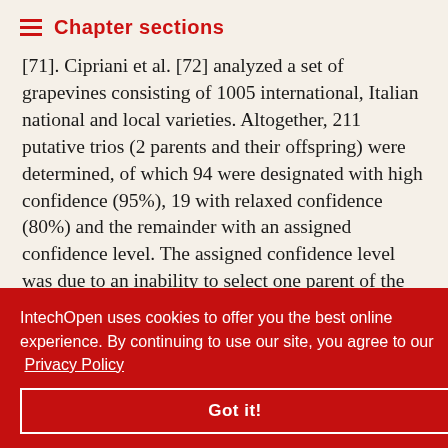Chapter sections
[71]. Cipriani et al. [72] analyzed a set of grapevines consisting of 1005 international, Italian national and local varieties. Altogether, 211 putative trios (2 parents and their offspring) were determined, of which 94 were designated with high confidence (95%), 19 with relaxed confidence (80%) and the remainder with an assigned confidence level. The assigned confidence level was due to an inability to select one parent of the pair, amongst a number of candidates with equal probability. Finally, 74 [partial] of which were [partial] ed. Recently, [partial] ed in five [partial] ere analyzed [partial] lysis resulted [partial] ecause the
IntechOpen uses cookies to offer you the best online experience. By continuing to use our site, you agree to our Privacy Policy
Got it!